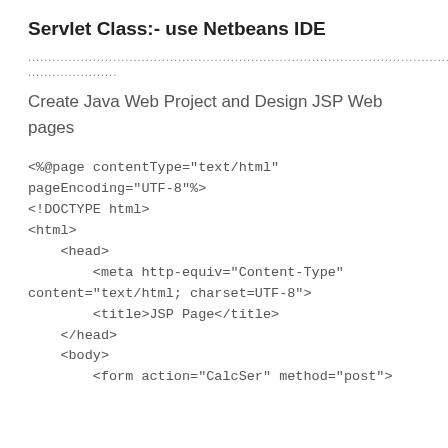Servlet Class:- use Netbeans IDE
............................................................................................................................................................................
......................
Create Java Web Project and Design JSP Web pages
<%@page contentType="text/html" pageEncoding="UTF-8"%>
<!DOCTYPE html>
<html>
    <head>
        <meta http-equiv="Content-Type" content="text/html; charset=UTF-8">
        <title>JSP Page</title>
    </head>
    <body>
        <form action="CalcSer" method="post">